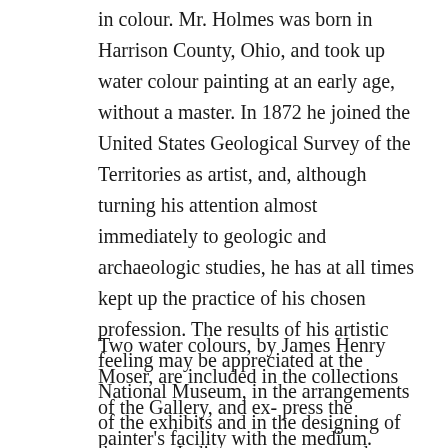in colour. Mr. Holmes was born in Harrison County, Ohio, and took up water colour painting at an early age, without a master. In 1872 he joined the United States Geological Survey of the Territories as artist, and, although turning his attention almost immediately to geologic and archaeologic studies, he has at all times kept up the practice of his chosen profession. The results of his artistic feeling may be appreciated at the National Museum, in the arrangements of the exhibits and in the designing of the many Indian groups, executed, under his direction, by Paul Lawrence Dunbar, sculptor.
Two water colours, by James Henry Moser, are included in the collections of the Gallery, and express the painter's facility with the medium. Moser is a native of Whitby, Ontario, making his winter home